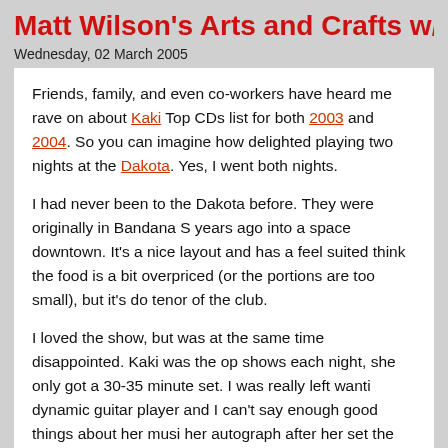Matt Wilson's Arts and Crafts w/ Kaki King
Wednesday, 02 March 2005
Friends, family, and even co-workers have heard me rave on about Kaki King. She made my Top CDs list for both 2003 and 2004. So you can imagine how delighted playing two nights at the Dakota. Yes, I went both nights.
I had never been to the Dakota before. They were originally in Bandana S years ago into a space downtown. It's a nice layout and has a feel suited think the food is a bit overpriced (or the portions are too small), but it's do tenor of the club.
I loved the show, but was at the same time disappointed. Kaki was the op shows each night, she only got a 30-35 minute set. I was really left wanti dynamic guitar player and I can't say enough good things about her musi her autograph after her set the first night. I can die happy now.
Matt Wilson's Arts and Crafts (warning, the Web site is pretty awful—tha better.) was the main act. A quartet with Wilson on drums, Ron Miles on t on piano and Hammond B3, and Dennis Irwin on contra-bass. They playe jazz. Creating music through seemingly random playing and apparent dis
Here's where I'm not sure what to think. The audience seemed to appre me feeling somewhat left out. I guess I don't understand this sub-genre c Severenson plays Jazz. Regina Carter plays Jazz. Benny Goodman play